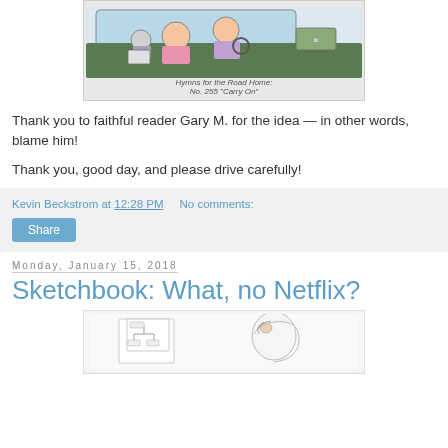[Figure (illustration): Comic strip panel showing people in a car, with caption 'Hymns for the Road Home: No. 255 "Carry On"']
Thank you to faithful reader Gary M. for the idea — in other words, blame him!
Thank you, good day, and please drive carefully!
Kevin Beckstrom at 12:28 PM   No comments:
Share
Monday, January 15, 2018
Sketchbook: What, no Netflix?
[Figure (illustration): Sketchbook drawing showing a person with papers/charts]